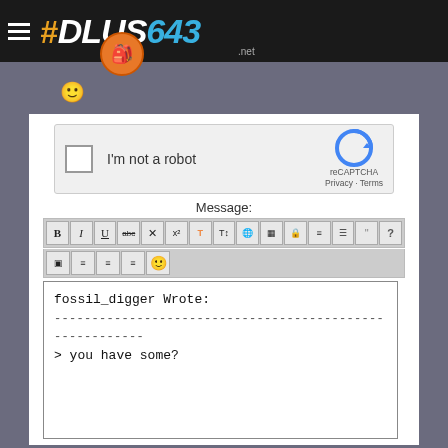#PLUS643 .net
[Figure (screenshot): reCAPTCHA widget with checkbox labeled I'm not a robot and reCAPTCHA logo with Privacy and Terms links]
Message:
[Figure (screenshot): Text editor toolbar with formatting buttons: Bold, Italic, Underline, strikethrough, and other formatting options, plus emoji button]
fossil_digger Wrote:
--------------------------------------------------------
> you have some?